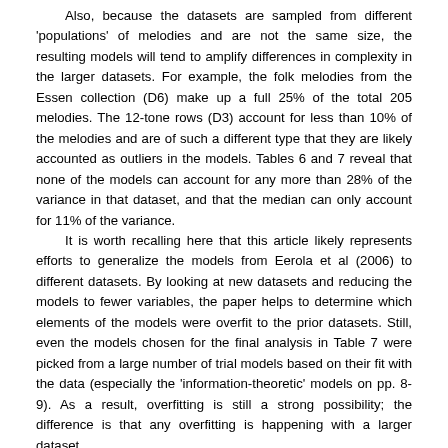Also, because the datasets are sampled from different 'populations' of melodies and are not the same size, the resulting models will tend to amplify differences in complexity in the larger datasets. For example, the folk melodies from the Essen collection (D6) make up a full 25% of the total 205 melodies. The 12-tone rows (D3) account for less than 10% of the melodies and are of such a different type that they are likely accounted as outliers in the models. Tables 6 and 7 reveal that none of the models can account for any more than 28% of the variance in that dataset, and that the median can only account for 11% of the variance.

It is worth recalling here that this article likely represents efforts to generalize the models from Eerola et al (2006) to different datasets. By looking at new datasets and reducing the models to fewer variables, the paper helps to determine which elements of the models were overfit to the prior datasets. Still, even the models chosen for the final analysis in Table 7 were picked from a large number of trial models based on their fit with the data (especially the 'information-theoretic' models on pp. 8-9). As a result, overfitting is still a strong possibility; the difference is that any overfitting is happening with a larger dataset.